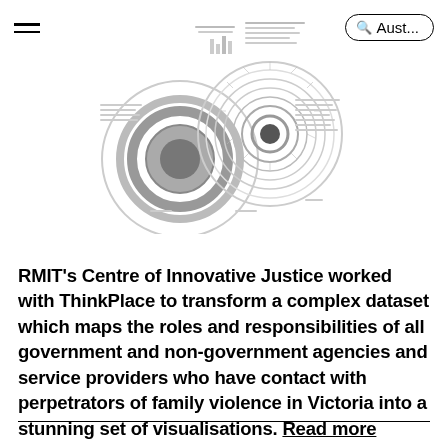Aust...
[Figure (illustration): Circular data visualisation diagrams — overlapping concentric ring charts showing roles and responsibilities mapping, rendered in grayscale]
RMIT's Centre of Innovative Justice worked with ThinkPlace to transform a complex dataset which maps the roles and responsibilities of all government and non-government agencies and service providers who have contact with perpetrators of family violence in Victoria into a stunning set of visualisations. Read more